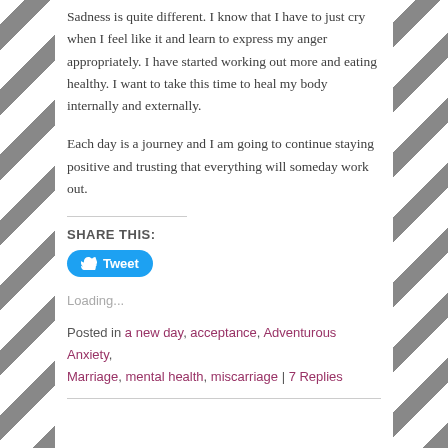Sadness is quite different. I know that I have to just cry when I feel like it and learn to express my anger appropriately. I have started working out more and eating healthy. I want to take this time to heal my body internally and externally.
Each day is a journey and I am going to continue staying positive and trusting that everything will someday work out.
SHARE THIS:
Loading...
Posted in a new day, acceptance, Adventurous Anxiety, Marriage, mental health, miscarriage | 7 Replies